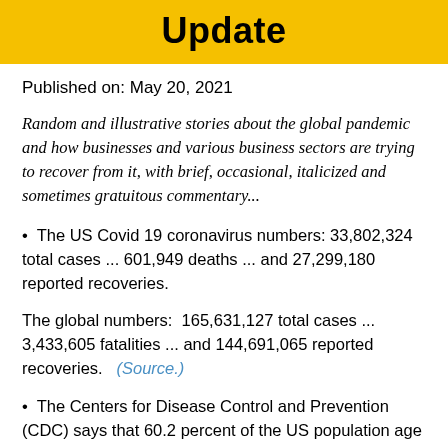Update
Published on: May 20, 2021
Random and illustrative stories about the global pandemic and how businesses and various business sectors are trying to recover from it, with brief, occasional, italicized and sometimes gratuitous commentary...
The US Covid 19 coronavirus numbers: 33,802,324 total cases ... 601,949 deaths ... and 27,299,180 reported recoveries.
The global numbers:  165,631,127 total cases ... 3,433,605 fatalities ... and 144,691,065 reported recoveries.   (Source.)
The Centers for Disease Control and Prevention (CDC) says that 60.2 percent of the US population age 18 and older has received at least one dose of vaccine, with